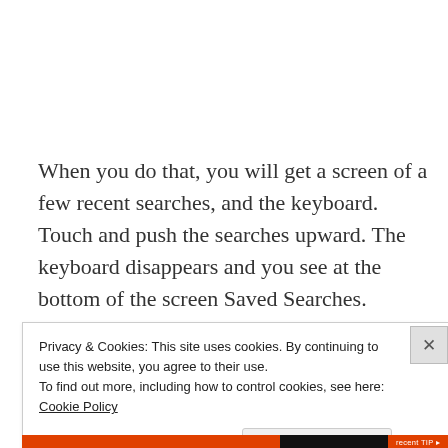When you do that, you will get a screen of a few recent searches, and the keyboard. Touch and push the searches upward. The keyboard disappears and you see at the bottom of the screen Saved Searches.
Privacy & Cookies: This site uses cookies. By continuing to use this website, you agree to their use.
To find out more, including how to control cookies, see here: Cookie Policy
Close and accept